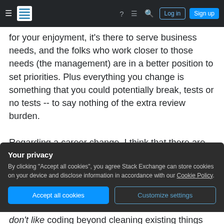Stack Exchange navigation bar with hamburger menu, logo, help, chat, search icons, Log in and Sign up buttons
for your enjoyment, it's there to serve business needs, and the folks who work closer to those needs (the management) are in a better position to set priorities. Plus everything you change is something that you could potentially break, tests or no tests -- to say nothing of the extra review burden.

Regarding a career change, I think that there are two things to consider. The first is that if you are consistently insubordinate, it won't matter what career you're in. Line cooks who "improve" recipes
Your privacy
By clicking "Accept all cookies", you agree Stack Exchange can store cookies on your device and disclose information in accordance with our Cookie Policy.
Accept all cookies  Customize settings
don't like coding beyond cleaning existing things up.